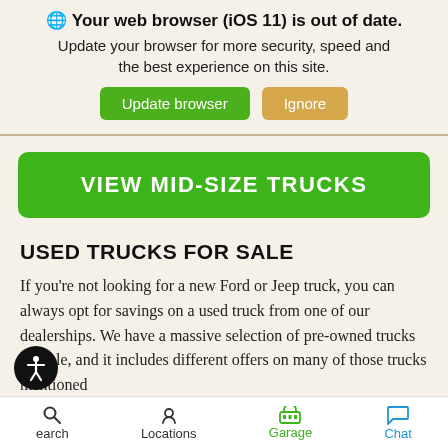🌐 Your web browser (iOS 11) is out of date. Update your browser for more security, speed and the best experience on this site.
Update browser | Ignore
VIEW MID-SIZE TRUCKS
USED TRUCKS FOR SALE
If you're not looking for a new Ford or Jeep truck, you can always opt for savings on a used truck from one of our dealerships. We have a massive selection of pre-owned trucks for sale, and it includes different offers on many of those trucks mentioned
Search   Locations   Garage   Chat